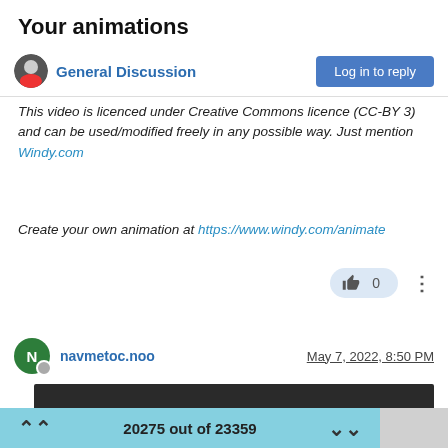Your animations
General Discussion
This video is licenced under Creative Commons licence (CC-BY 3) and can be used/modified freely in any possible way. Just mention Windy.com
Create your own animation at https://www.windy.com/animate
0
navmetoc.noo
May 7, 2022, 8:50 PM
[Figure (screenshot): Video player thumbnail with dark background showing video controls at bottom including play button and 0:00 timestamp]
20275 out of 23359